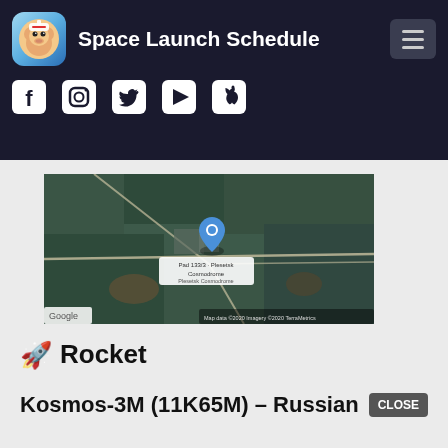Space Launch Schedule
[Figure (map): Satellite map showing Pad 133/3 - Plesetsk Cosmodrome, Plesetsk Cosmodrome location marker. Map data ©2020, Imagery ©2020 TerraMetrics. Google logo visible bottom left.]
🚀 Rocket
Kosmos-3M (11K65M) – Russian  [CLOSE]